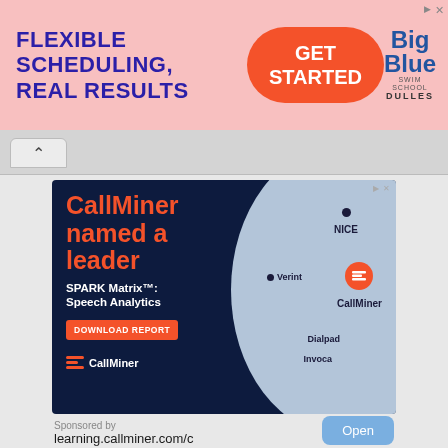[Figure (infographic): Top banner advertisement: pink background, text 'FLEXIBLE SCHEDULING, REAL RESULTS' in dark blue bold, orange pill button 'GET STARTED', Big Blue Swim School Dulles logo on right]
[Figure (infographic): CallMiner advertisement on dark navy background: large orange text 'CallMiner named a leader', white text 'SPARK Matrix: Speech Analytics', orange 'DOWNLOAD REPORT' button, CallMiner logo, and a light blue circle on the right showing a scatter-plot positioning with NICE, Verint, CallMiner (highlighted in orange circle), Dialpad, and Invoca labels]
Sponsored by
learning.callminer.com/c
Open